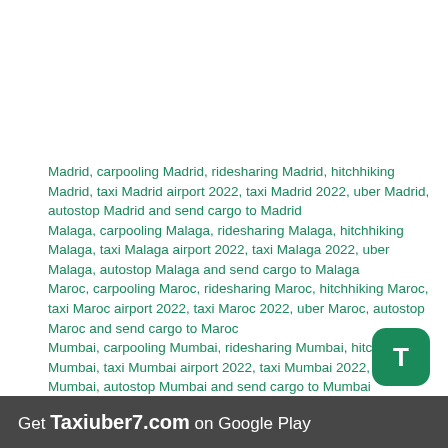Madrid, carpooling Madrid, ridesharing Madrid, hitchhiking Madrid, taxi Madrid airport 2022, taxi Madrid 2022, uber Madrid, autostop Madrid and send cargo to Madrid
Malaga, carpooling Malaga, ridesharing Malaga, hitchhiking Malaga, taxi Malaga airport 2022, taxi Malaga 2022, uber Malaga, autostop Malaga and send cargo to Malaga
Maroc, carpooling Maroc, ridesharing Maroc, hitchhiking Maroc, taxi Maroc airport 2022, taxi Maroc 2022, uber Maroc, autostop Maroc and send cargo to Maroc
Mumbai, carpooling Mumbai, ridesharing Mumbai, hitchhiking Mumbai, taxi Mumbai airport 2022, taxi Mumbai 2022, uber Mumbai, autostop Mumbai and send cargo to Mumbai
Get Taxiuber7.com on Google Play